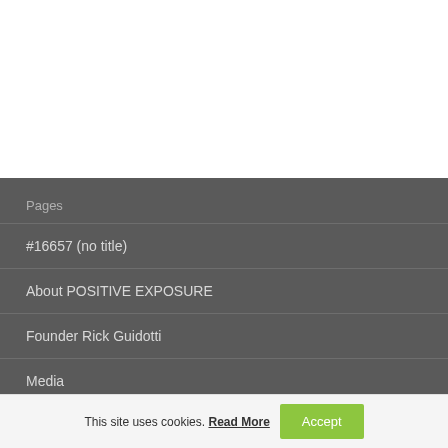Pages
#16657 (no title)
About POSITIVE EXPOSURE
Founder Rick Guidotti
Media
On Beauty Film
This site uses cookies. Read More  Accept